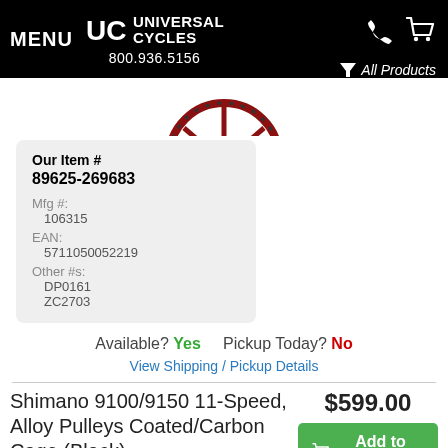MENU | UC Universal Cycles | 800.936.5156 | All Products
[Figure (photo): Partial product image of a bicycle wheel/component, red and black]
| Our Item # |  |
| 89625-269683 |  |
| Mfg #: | 106315 |
| EAN: | 5711050052219 |
| Other #s: | DP0161 |
|  | ZC2703 |
Available? Yes    Pickup Today? No
View Shipping / Pickup Details
Shimano 9100/9150 11-Speed, Alloy Pulleys Coated/Carbon Cage (Black)
$599.00
Add to Cart
Add to Wishlist